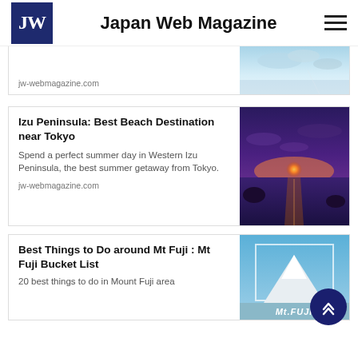Japan Web Magazine
jw-webmagazine.com
Izu Peninsula: Best Beach Destination near Tokyo
Spend a perfect summer day in Western Izu Peninsula, the best summer getaway from Tokyo.
jw-webmagazine.com
Best Things to Do around Mt Fuji : Mt Fuji Bucket List
20 best things to do in Mount Fuji area